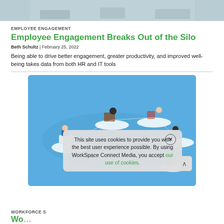[Figure (photo): Top portion of a banner/header photo showing people in a workspace, partially cropped at top]
EMPLOYEE ENGAGEMENT
Employee Engagement Breaks Out of the Silo
Beth Schultz | February 25, 2022
Being able to drive better engagement, greater productivity, and improved well-being takes data from both HR and IT tools
[Figure (illustration): Blue-background illustration showing remote/distributed workers connected via network lines, each sitting at floating white platform workstations. Overlaid with a cookie consent popup dialog.]
WORKFORCE S
Wo...